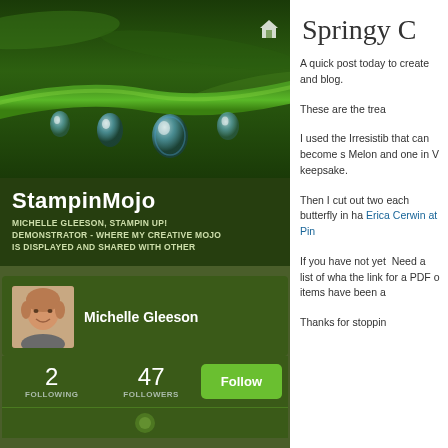[Figure (photo): Close-up photo of a green plant stem with water droplets hanging from it on a dark green background]
StampinMojo
MICHELLE GLEESON, STAMPIN UP! DEMONSTRATOR - WHERE MY CREATIVE MOJO IS DISPLAYED AND SHARED WITH OTHER
[Figure (photo): Profile photo of Michelle Gleeson, a woman with short light brown hair, smiling]
Michelle Gleeson
2 FOLLOWING
47 FOLLOWERS
Follow
Springy C
A quick post today to create and blog.
These are the trea
I used the Irresistib that can become s Melon and one in V keepsake.
Then I cut out two each butterfly in ha Erica Cerwin at Pin
If you have not yet  Need a list of wha the link for a PDF o items have been a
Thanks for stoppin